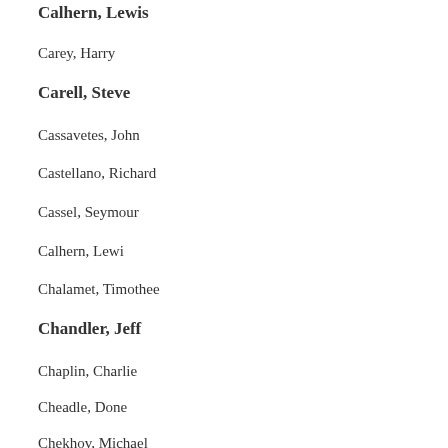Calhern, Lewis
Carey, Harry
Carell, Steve
Cassavetes, John
Castellano, Richard
Cassel, Seymour
Calhern, Lewi
Chalamet, Timothee
Chandler, Jeff
Chaplin, Charlie
Cheadle, Done
Chekhov, Michael
Cherdin, Marri